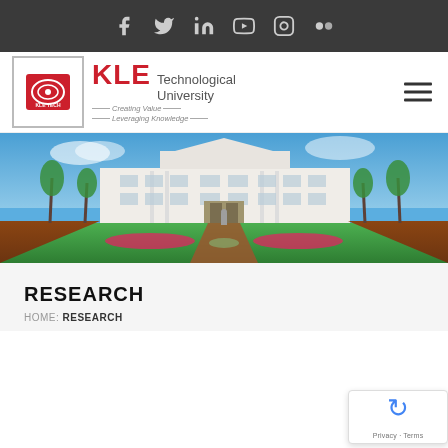Social media icons: Facebook, Twitter, LinkedIn, YouTube, Instagram, Flickr
[Figure (logo): KLE Technological University logo with red oval emblem, KLE TECH text, and tagline Creating Value Leveraging Knowledge]
[Figure (photo): Panoramic photograph of KLE Technological University campus building - a large white colonial-style building with green lawns, palm trees, and a central driveway]
RESEARCH
HOME / RESEARCH
[Figure (other): Google reCAPTCHA badge showing recycling arrow icon with Privacy and Terms links]